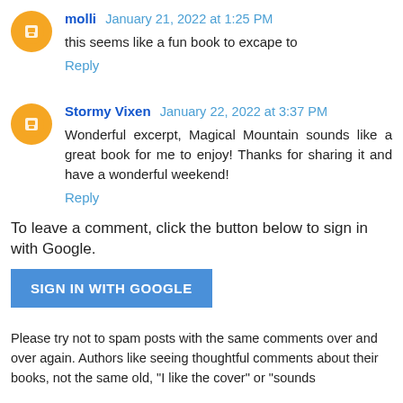molli January 21, 2022 at 1:25 PM
this seems like a fun book to excape to
Reply
Stormy Vixen January 22, 2022 at 3:37 PM
Wonderful excerpt, Magical Mountain sounds like a great book for me to enjoy! Thanks for sharing it and have a wonderful weekend!
Reply
To leave a comment, click the button below to sign in with Google.
SIGN IN WITH GOOGLE
Please try not to spam posts with the same comments over and over again. Authors like seeing thoughtful comments about their books, not the same old, "I like the cover" or "sounds